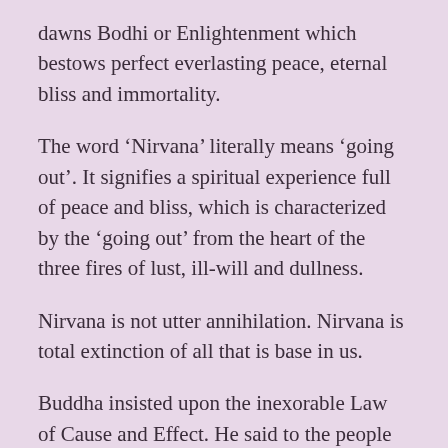dawns Bodhi or Enlightenment which bestows perfect everlasting peace, eternal bliss and immortality.
The word ‘Nirvana’ literally means ‘going out’. It signifies a spiritual experience full of peace and bliss, which is characterized by the ‘going out’ from the heart of the three fires of lust, ill-will and dullness.
Nirvana is not utter annihilation. Nirvana is total extinction of all that is base in us.
Buddha insisted upon the inexorable Law of Cause and Effect. He said to the people